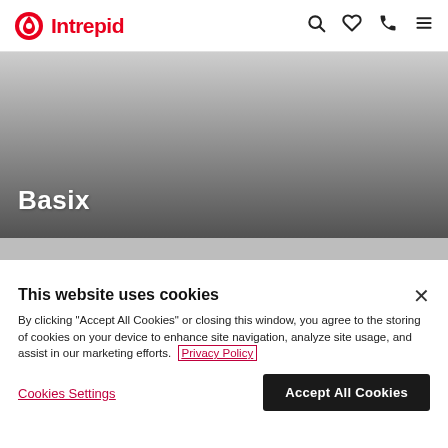Intrepid
[Figure (photo): Hero banner image with gradient overlay showing the text 'Basix' in white bold font on a grey/dark gradient background]
This website uses cookies
By clicking "Accept All Cookies" or closing this window, you agree to the storing of cookies on your device to enhance site navigation, analyze site usage, and assist in our marketing efforts. Privacy Policy
Cookies Settings
Accept All Cookies